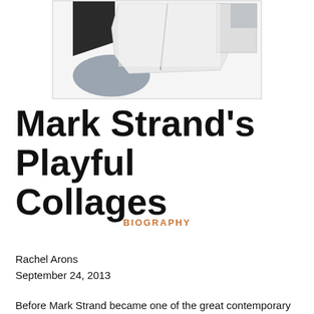[Figure (illustration): Abstract collage artwork with black, grey and white shapes, rectangular and organic forms, with torn paper textures]
Mark Strand’s Playful Collages
BIOGRAPHY
Rachel Arons
September 24, 2013
Before Mark Strand became one of the great contemporary